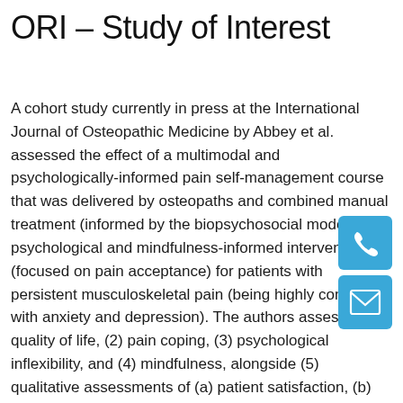ORI – Study of Interest
A cohort study currently in press at the International Journal of Osteopathic Medicine by Abbey et al. assessed the effect of a multimodal and psychologically-informed pain self-management course that was delivered by osteopaths and combined manual treatment (informed by the biopsychosocial model) with psychological and mindfulness-informed interventions (focused on pain acceptance) for patients with persistent musculoskeletal pain (being highly comorbid with anxiety and depression). The authors assessed (1) quality of life, (2) pain coping, (3) psychological inflexibility, and (4) mindfulness, alongside (5) qualitative assessments of (a) patient satisfaction, (b) adverse reactions, and (c) medication changes. 256 patients participated and self-report data were assessed at baseline (n=180) and after six months (n=19). Outcomes improved significantly showing (1) an increase in quality of life, (2) an increase in pain coping, (3) a decrease in psychological inflexibility, and (4) an increase in mindfulness